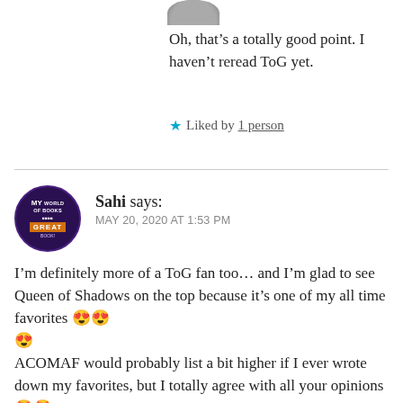[Figure (photo): Partial avatar image at top, cropped circle]
Oh, that's a totally good point. I haven't reread ToG yet.
★ Liked by 1 person
Sahi says:
MAY 20, 2020 AT 1:53 PM
I'm definitely more of a ToG fan too… and I'm glad to see Queen of Shadows on the top because it's one of my all time favorites 😍😍😍
ACOMAF would probably list a bit higher if I ever wrote down my favorites, but I totally agree with all your opinions 🤩🤩